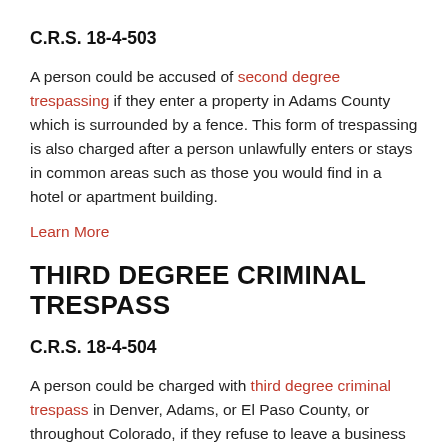C.R.S. 18-4-503
A person could be accused of second degree trespassing if they enter a property in Adams County which is surrounded by a fence. This form of trespassing is also charged after a person unlawfully enters or stays in common areas such as those you would find in a hotel or apartment building.
Learn More
THIRD DEGREE CRIMINAL TRESPASS
C.R.S. 18-4-504
A person could be charged with third degree criminal trespass in Denver, Adams, or El Paso County, or throughout Colorado, if they refuse to leave a business property when they are asked to leave. Another common